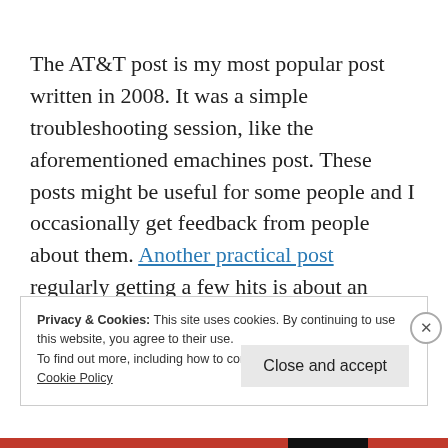The AT&T post is my most popular post written in 2008. It was a simple troubleshooting session, like the aforementioned emachines post. These posts might be useful for some people and I occasionally get feedback from people about them. Another practical post regularly getting a few hits is about an inflatable mattress with built-in pump which
Privacy & Cookies: This site uses cookies. By continuing to use this website, you agree to their use.
To find out more, including how to control cookies, see here:
Cookie Policy
Close and accept